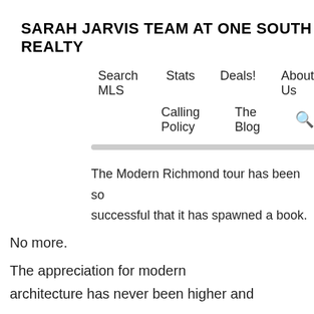SARAH JARVIS TEAM AT ONE SOUTH REALTY
Search MLS  Stats  Deals!  About Us  Calling Policy  The Blog 🔍
[Figure (other): Horizontal gray divider bar]
The Modern Richmond tour has been so successful that it has spawned a book.
No more.
The appreciation for modern architecture has never been higher and